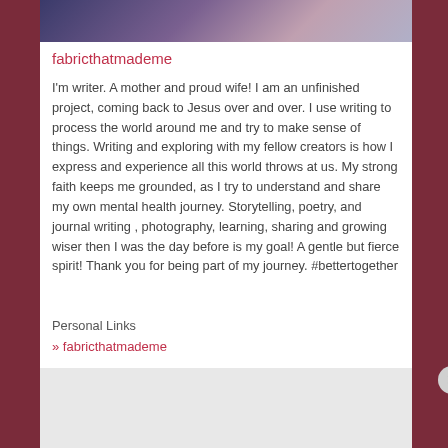[Figure (photo): Top banner image with purple/blue cloudy or galaxy-like background]
fabricthatmademe
I'm writer. A mother and proud wife! I am an unfinished project, coming back to Jesus over and over. I use writing to process the world around me and try to make sense of things. Writing and exploring with my fellow creators is how I express and experience all this world throws at us. My strong faith keeps me grounded, as I try to understand and share my own mental health journey. Storytelling, poetry, and journal writing , photography, learning, sharing and growing wiser then I was the day before is my goal! A gentle but fierce spirit! Thank you for being part of my journey. #bettertogether
Personal Links
» fabricthatmademe
Advertisements
[Figure (screenshot): Red advertisement banner for Pocket Casts app reading 'An app by listeners, for listeners.' with phone image and Pocket Casts logo]